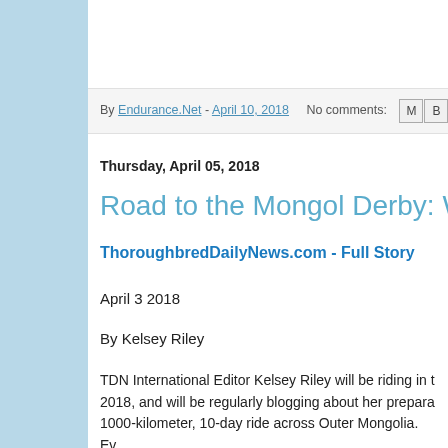By Endurance.Net - April 10, 2018   No comments:
Thursday, April 05, 2018
Road to the Mongol Derby: Why the D
ThoroughbredDailyNews.com - Full Story
April 3 2018
By Kelsey Riley
TDN International Editor Kelsey Riley will be riding in t 2018, and will be regularly blogging about her prepara 1000-kilometer, 10-day ride across Outer Mongolia. Ev for which they raise money as part of the process. Kels Thoroughbred Retirement Foundation's Second Chane Correctional Complex in Lexington, KY. To learn more